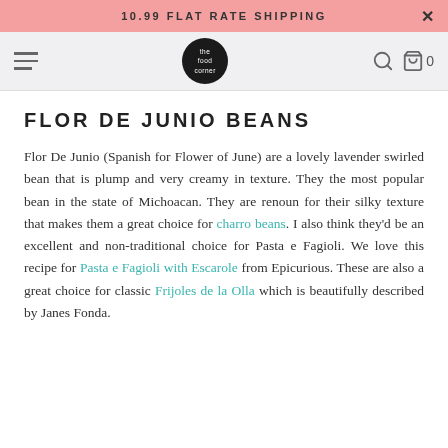10.99 FLAT RATE SHIPPING
[Figure (screenshot): Website navigation bar with hamburger menu, The Food Corner logo (circular black badge), search icon, and cart icon showing 0 items]
FLOR DE JUNIO BEANS
Flor De Junio (Spanish for Flower of June) are a lovely lavender swirled bean that is plump and very creamy in texture. They the most popular bean in the state of Michoacan. They are renoun for their silky texture that makes them a great choice for charro beans. I also think they'd be an excellent and non-traditional choice for Pasta e Fagioli. We love this recipe for Pasta e Fagioli with Escarole from Epicurious. These are also a great choice for classic Frijoles de la Olla which is beautifully described by Janes Fonda.